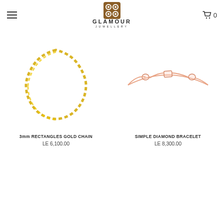GLAMOUR JEWELLERY
[Figure (photo): Gold rectangular chain necklace on white background]
3mm RECTANGLES GOLD CHAIN
LE 6,100.00
[Figure (photo): Simple diamond bracelet with rose gold chain on white background]
SIMPLE DIAMOND BRACELET
LE 8,300.00